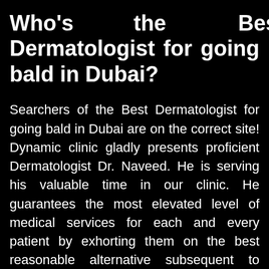Who's the Best Dermatologist for going bald in Dubai?
Searchers of the Best Dermatologist for going bald in Dubai are on the correct site! Dynamic clinic gladly presents proficient Dermatologist Dr. Naveed. He is serving his valuable time in our clinic. He guarantees the most elevated level of medical services for each and every patient by exhorting them on the best reasonable alternative subsequent to examining their clinical trouble, and relative